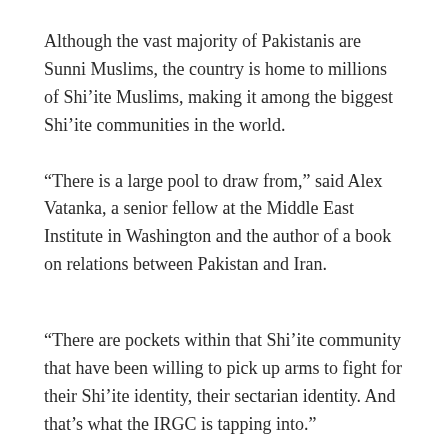Although the vast majority of Pakistanis are Sunni Muslims, the country is home to millions of Shi’ite Muslims, making it among the biggest Shi’ite communities in the world.
“There is a large pool to draw from,” said Alex Vatanka, a senior fellow at the Middle East Institute in Washington and the author of a book on relations between Pakistan and Iran.
“There are pockets within that Shi’ite community that have been willing to pick up arms to fight for their Shi’ite identity, their sectarian identity. And that’s what the IRGC is tapping into.”